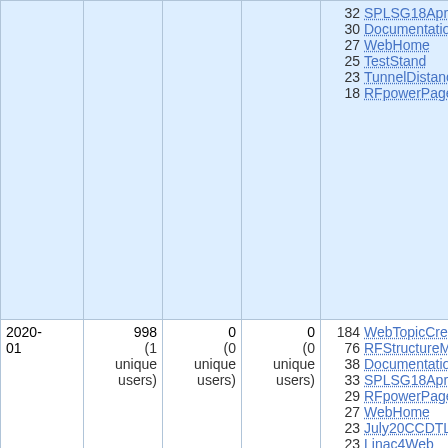| Date | Views | Saves | Uploads | Top Pages |
| --- | --- | --- | --- | --- |
|  |  |  |  | 32 SPLSG18April2008
30 DocumentationLinac4
27 WebHome
25 TestStand
23 TunnelDistances
18 RFpowerPages |
| 2020-01 | 998 (1 unique users) | 0 (0 unique users) | 0 (0 unique users) | 184 WebTopicCreator
76 RFStructureMeetings
38 DocumentationLinac4
33 SPLSG18April2008
29 RFpowerPages
27 WebHome
23 July20CCDTL
23 Linac4Web
21 SplWeb
21 TestStand |
| 2019-12 | 1944 (1 unique users) | 0 (0 unique users) | 0 (0 unique users) | 219 WebTopicCreator
201 RFStructureMeetings
49 TestStand
48 DocumentationLinac4
31 WebHome |